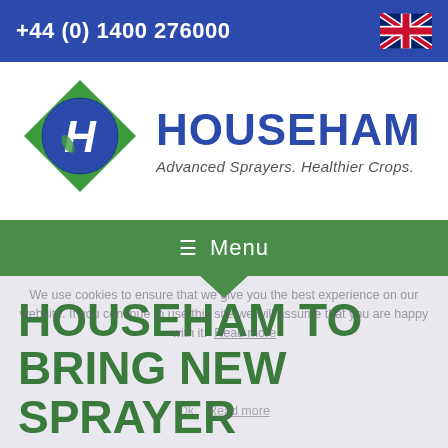+44 (0) 1400 276000
[Figure (logo): Househam logo: green diamond shape with blue circle containing white H letter, next to HOUSEHAM brand name in dark blue bold text with slogan 'Advanced Sprayers. Healthier Crops.']
≡  Menu
We use cookies to ensure that we give you the best experience on our website. If you continue to use this site we will assume that you are happy with it.  Read more
HOUSEHAM TO BRING NEW SPRAYER